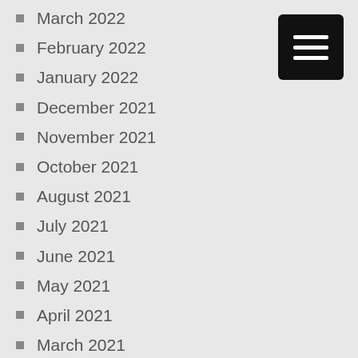March 2022
February 2022
January 2022
December 2021
November 2021
October 2021
August 2021
July 2021
June 2021
May 2021
April 2021
March 2021
February 2021
January 2021
December 2020
November 2020